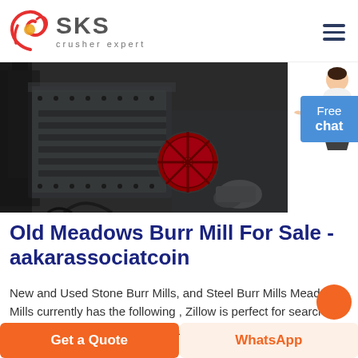[Figure (logo): SKS Crusher Expert logo with red swirl symbol and gray SKS text]
[Figure (photo): Industrial crusher machine, large dark metal machinery with red wheel/flywheel, in a factory setting]
Old Meadows Burr Mill For Sale - aakarassociatcoin
New and Used Stone Burr Mills, and Steel Burr Mills Meadows Mills currently has the following , Zillow is perfect for searching homes for sale in the United Stat.
Get a Quote
WhatsApp